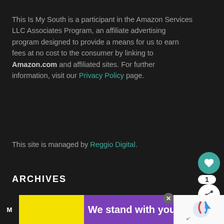This Is My South is a participant in the Amazon Services LLC Associates Program, an affiliate advertising program designed to provide a means for us to earn fees at no cost to the consumer by linking to Amazon.com and affiliated sites. For further information, visit our Privacy Policy page.
This site is managed by Reggio Digital.
ARCHIVES
Select Month
WHAT'S NEXT → Southern Stays: Hotel...
We stand with you.